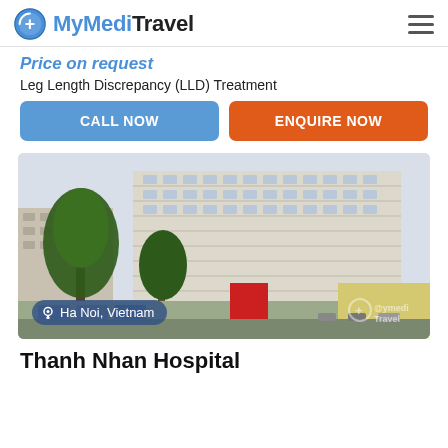MyMediTravel
Price on request
Leg Length Discrepancy (LLD) Treatment
CALL NOW
ENQUIRE NOW
[Figure (photo): Exterior photo of Thanh Nhan Hospital, a large multi-storey building in Ha Noi, Vietnam, with trees in the foreground and a location badge reading 'Ha Noi, Vietnam' and a MyMediTravel watermark.]
Thanh Nhan Hospital